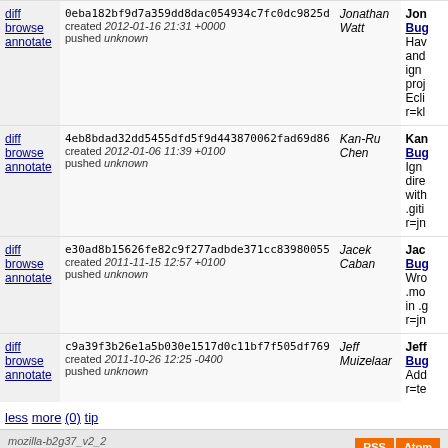|  | Commit | Author | Description |
| --- | --- | --- | --- |
| diff
browse
annotate | 0eba182bf9d7a359dd8dac054934c7fc0dc9825d
created 2012-01-16 21:31 +0000
pushed unknown | Jonathan Watt | Jon...
Bug...
Hav...
and...
ign...
proj...
Ecli...
r=kl... |
| diff
browse
annotate | 4eb8bdad32dd5455dfd5f9d443870062fad69d86
created 2012-01-06 11:39 +0100
pushed unknown | Kan-Ru Chen | Kan...
Bug...
Ign...
dire...
with...
.giti...
r=jn... |
| diff
browse
annotate | e30ad8b15626fe82c9f277adbde371cc83980055
created 2011-11-15 12:57 +0100
pushed unknown | Jacek Caban | Jac...
Bug...
Wro...
.mo...
in .g...
r=jn... |
| diff
browse
annotate | c9a39f3b26e1a5b030e1517d0c11bf7f505df769
created 2011-10-26 12:25 -0400
pushed unknown | Jeff Muizelaar | Jeff...
Bug...
Add...
r=te... |
less  more  (0)  tip
mozilla-b2g37_v2_2
Deployed from 18d8b634a3eb at 2022-06-27T19:41:43Z.